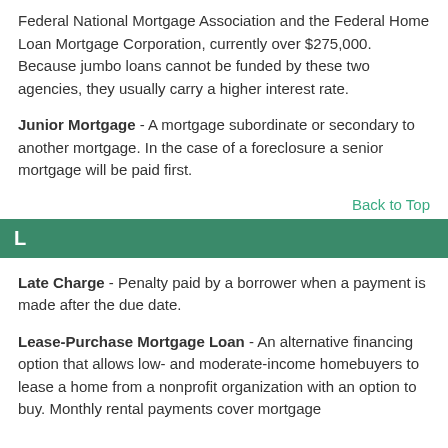Federal National Mortgage Association and the Federal Home Loan Mortgage Corporation, currently over $275,000. Because jumbo loans cannot be funded by these two agencies, they usually carry a higher interest rate.
Junior Mortgage - A mortgage subordinate or secondary to another mortgage. In the case of a foreclosure a senior mortgage will be paid first.
Back to Top
L
Late Charge - Penalty paid by a borrower when a payment is made after the due date.
Lease-Purchase Mortgage Loan - An alternative financing option that allows low- and moderate-income homebuyers to lease a home from a nonprofit organization with an option to buy. Monthly rental payments cover mortgage